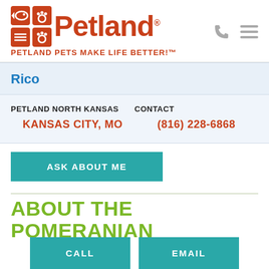[Figure (logo): Petland logo with icons and tagline 'Petland Pets Make Life Better!']
Rico
PETLAND NORTH KANSAS
KANSAS CITY, MO
CONTACT
(816) 228-6868
ASK ABOUT ME
ABOUT THE POMERANIAN
CALL
EMAIL